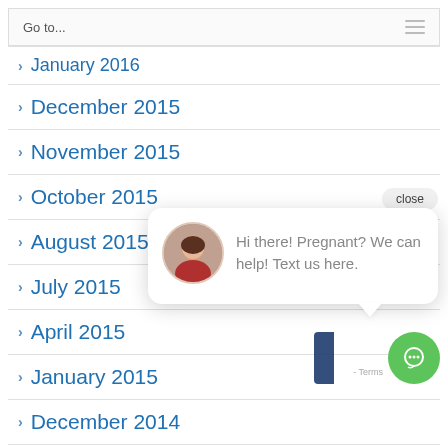Go to...
January 2016
December 2015
November 2015
October 2015
August 2015
July 2015
April 2015
January 2015
December 2014
[Figure (screenshot): Chat popup overlay with close button, avatar photo of a woman, text 'Hi there! Pregnant? We can help! Text us here.', and a green chat bubble button at bottom right.]